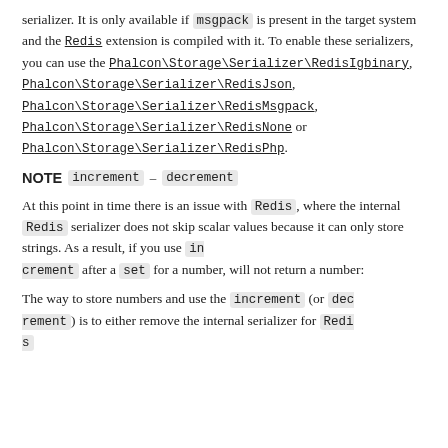serializer. It is only available if msgpack is present in the target system and the Redis extension is compiled with it. To enable these serializers, you can use the Phalcon\Storage\Serializer\RedisIgbinary, Phalcon\Storage\Serializer\RedisJson, Phalcon\Storage\Serializer\RedisMsgpack, Phalcon\Storage\Serializer\RedisNone or Phalcon\Storage\Serializer\RedisPhp.
NOTE increment - decrement
At this point in time there is an issue with Redis , where the internal Redis serializer does not skip scalar values because it can only store strings. As a result, if you use increment after a set for a number, will not return a number:
The way to store numbers and use the increment (or decrement ) is to either remove the internal serializer for Redis